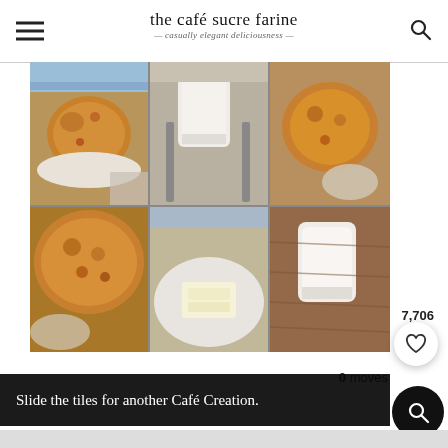the café sucre farine — casually elegant deliciousness
[Figure (photo): A 2x3 grid of food photos showing muffins/scones, a glass of milk, butter pats, and a wooden surface — a sliding tile puzzle game interface]
7,706
0 moves
Slide the tiles for another Café Creation.